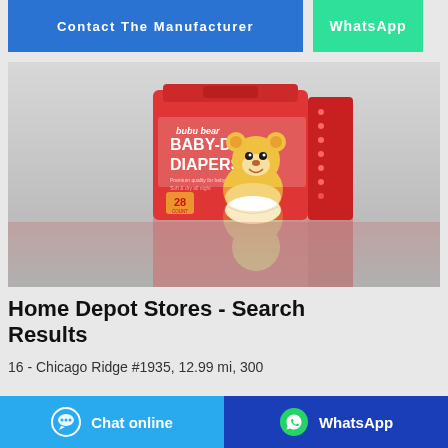[Figure (screenshot): Top button bar with 'Contact The Manufacturer' blue button and 'WhatsApp' green button]
[Figure (photo): Product photo of Bubu Bear Baby-Dry Diapers package (28 count), red box with cartoon bear character, shown with reflection]
Home Depot Stores - Search Results
16 - Chicago Ridge #1935, 12.99 mi, 300
[Figure (screenshot): Bottom button bar with 'Chat online' sky-blue button and 'WhatsApp' dark blue button]